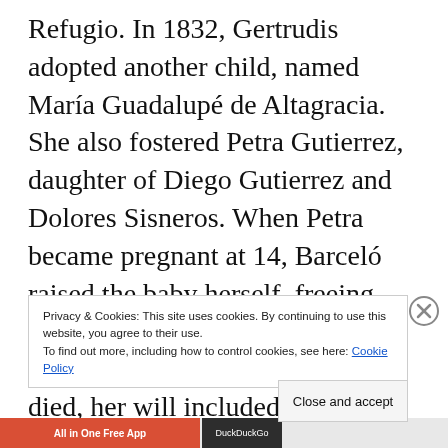Refugio. In 1832, Gertrudis adopted another child, named María Guadalupé de Altagracia. She also fostered Petra Gutierrez, daughter of Diego Gutierrez and Dolores Sisneros. When Petra became pregnant at 14, Barceló raised the baby herself, freeing Petra to marry James Giddings four years later. When Barceló died, her will included
Privacy & Cookies: This site uses cookies. By continuing to use this website, you agree to their use.
To find out more, including how to control cookies, see here: Cookie Policy
Close and accept